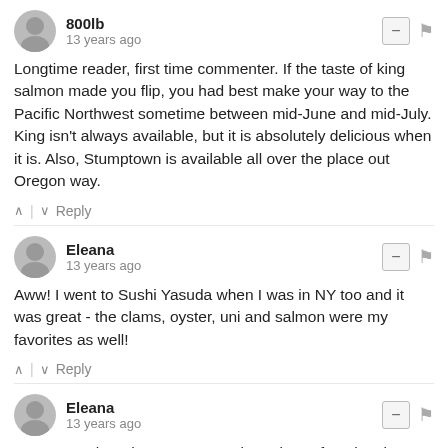800lb
13 years ago
Longtime reader, first time commenter. If the taste of king salmon made you flip, you had best make your way to the Pacific Northwest sometime between mid-June and mid-July. King isn't always available, but it is absolutely delicious when it is. Also, Stumptown is available all over the place out Oregon way.
Eleana
13 years ago
Aww! I went to Sushi Yasuda when I was in NY too and it was great - the clams, oyster, uni and salmon were my favorites as well!
Eleana
13 years ago
In Los Angeles where I am, Sasabune is my favorite place as well, as agreed with the reader above